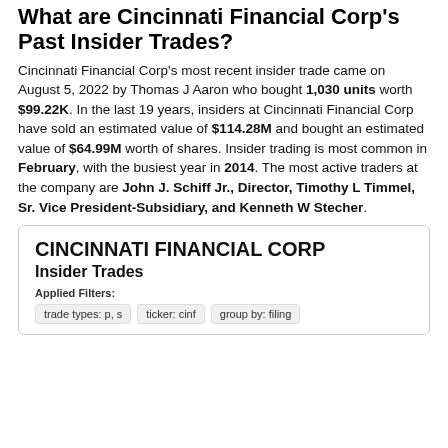What are Cincinnati Financial Corp's Past Insider Trades?
Cincinnati Financial Corp's most recent insider trade came on August 5, 2022 by Thomas J Aaron who bought 1,030 units worth $99.22K. In the last 19 years, insiders at Cincinnati Financial Corp have sold an estimated value of $114.28M and bought an estimated value of $64.99M worth of shares. Insider trading is most common in February, with the busiest year in 2014. The most active traders at the company are John J. Schiff Jr., Director, Timothy L Timmel, Sr. Vice President-Subsidiary, and Kenneth W Stecher.
CINCINNATI FINANCIAL CORP Insider Trades
Applied Filters:
trade types: p, s
ticker: cinf
group by: filing